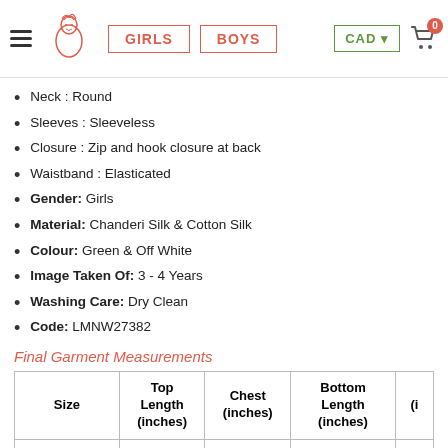GIRLS | BOYS | CAD | Cart 0
Neck : Round
Sleeves : Sleeveless
Closure : Zip and hook closure at back
Waistband : Elasticated
Gender: Girls
Material: Chanderi Silk & Cotton Silk
Colour: Green & Off White
Image Taken Of: 3 - 4 Years
Washing Care: Dry Clean
Code: LMNW27382
Final Garment Measurements
| Size | Top Length (inches) | Chest (inches) | Bottom Length (inches) | (i |
| --- | --- | --- | --- | --- |
| 0 - 3 Months | 11 | 18 | 12 |  |